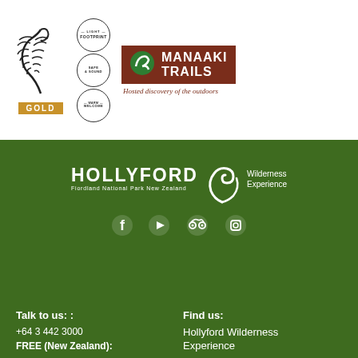[Figure (logo): Qualmark Gold logo with silver fern and gold GOLD bar, plus three circular badges: Light Footprint, Safe & Sound, Warm Welcome. Manaaki Trails logo with green wave icon on dark red background and tagline 'Hosted discovery of the outdoors'.]
[Figure (logo): Hollyford Wilderness Experience logo in white on dark green background, with koru/fern spiral graphic and text 'Fiordland National Park New Zealand'. Social media icons for Facebook, YouTube, TripAdvisor, and Instagram below.]
Talk to us: :
Find us:
+64 3 442 3000
Hollyford Wilderness Experience
FREE (New Zealand):